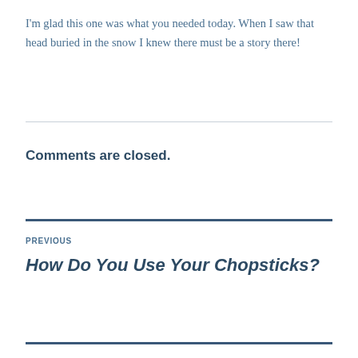I'm glad this one was what you needed today. When I saw that head buried in the snow I knew there must be a story there!
Comments are closed.
PREVIOUS
How Do You Use Your Chopsticks?